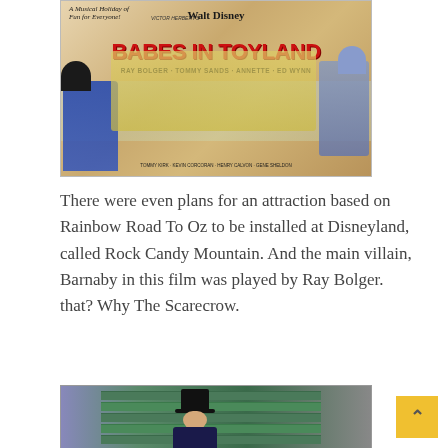[Figure (photo): Movie poster for Walt Disney's 'Babes in Toyland' featuring Ray Bolger, Tommy Sands, Annette, Ed Wynn. Text reads 'A Musical Holiday of Fun for Everyone!']
There were even plans for an attraction based on Rainbow Road To Oz to be installed at Disneyland, called Rock Candy Mountain. And the main villain, Barnaby in this film was played by Ray Bolger. that? Why The Scarecrow.
[Figure (photo): Photo of a man in a top hat and villain costume, appearing to be Ray Bolger as Barnaby, standing in front of a green building.]